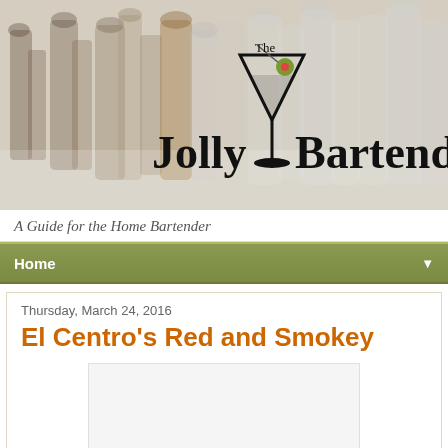[Figure (photo): Header banner showing rows of liquor bottles with The Jolly Bartender logo overlaid]
A Guide for the Home Bartender
Home
Thursday, March 24, 2016
El Centro's Red and Smokey
[Figure (photo): Empty white image placeholder for article photo]